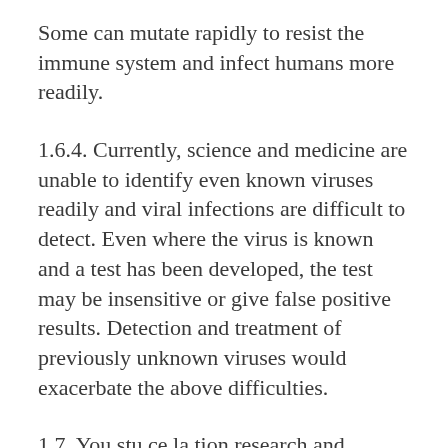Some can mutate rapidly to resist the immune system and infect humans more readily.
1.6.4. Currently, science and medicine are unable to identify even known viruses readily and viral infections are difficult to detect. Even where the virus is known and a test has been developed, the test may be insensitive or give false positive results. Detection and treatment of previously unknown viruses would exacerbate the above difficulties.
1.7. Youstu ce la tion research and